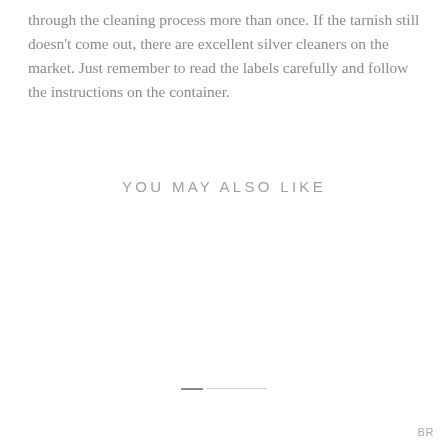through the cleaning process more than once.  If the tarnish still doesn't come out, there are excellent silver cleaners on the market.  Just remember to read the labels carefully and follow the instructions on the container.
YOU MAY ALSO LIKE
BR